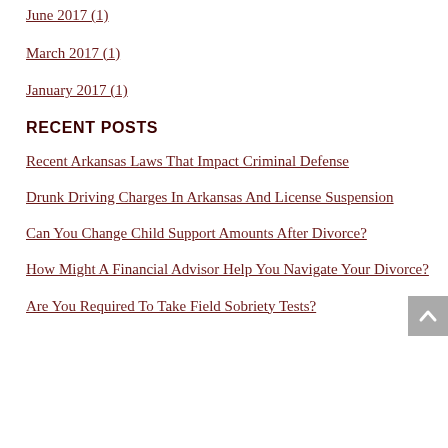June 2017 (1)
March 2017 (1)
January 2017 (1)
RECENT POSTS
Recent Arkansas Laws That Impact Criminal Defense
Drunk Driving Charges In Arkansas And License Suspension
Can You Change Child Support Amounts After Divorce?
How Might A Financial Advisor Help You Navigate Your Divorce?
Are You Required To Take Field Sobriety Tests?